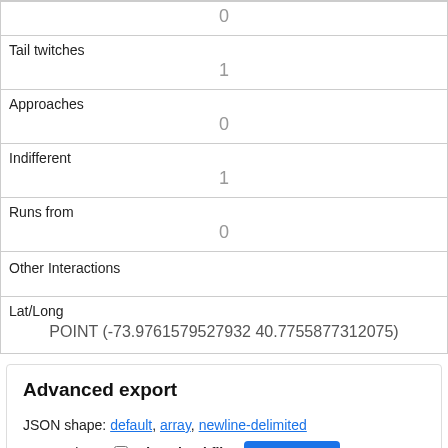|  | 0 |
| Tail twitches | 1 |
| Approaches | 0 |
| Indifferent | 1 |
| Runs from | 0 |
| Other Interactions |  |
| Lat/Long | POINT (-73.9761579527932 40.7755877312075) |
Advanced export
JSON shape: default, array, newline-delimited
CSV options: □ download file  Export CSV